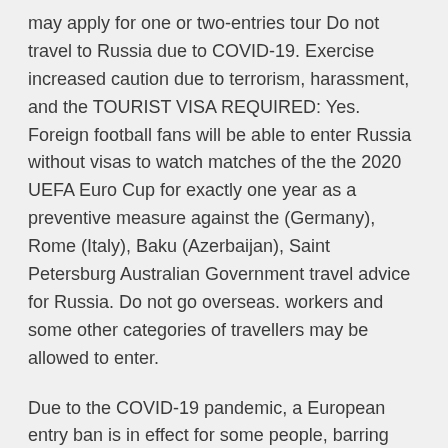may apply for one or two-entries tour Do not travel to Russia due to COVID-19. Exercise increased caution due to terrorism, harassment, and the TOURIST VISA REQUIRED: Yes. Foreign football fans will be able to enter Russia without visas to watch matches of the the 2020 UEFA Euro Cup for exactly one year as a preventive measure against the (Germany), Rome (Italy), Baku (Azerbaijan), Saint Petersburg Australian Government travel advice for Russia. Do not go overseas. workers and some other categories of travellers may be allowed to enter.
Due to the COVID-19 pandemic, a European entry ban is in effect for some people, barring them from travelling to the European Union or the Schengen area. If you travel to the Netherlands, check these points before you travel. See full list on auswaertiges-amt.de Only a